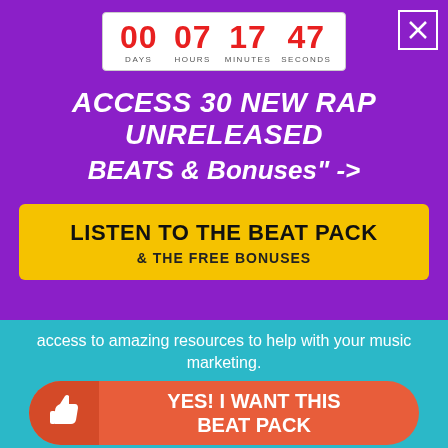[Figure (screenshot): Countdown timer showing 00 days, 07 hours, 17 minutes, 47 seconds in red on white boxes]
ACCESS 30 NEW RAP UNRELEASED BEATS & Bonuses" ->
LISTEN TO THE BEAT PACK & THE FREE BONUSES
access to amazing resources to help with your music marketing.
YES! I WANT THIS BEAT PACK